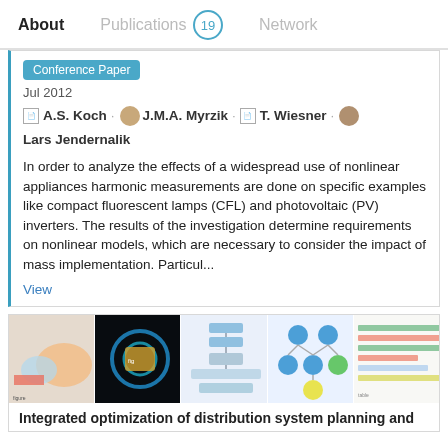About   Publications 19   Network
Conference Paper
Jul 2012
A.S. Koch · J.M.A. Myrzik · T. Wiesner · Lars Jendernalik
In order to analyze the effects of a widespread use of nonlinear appliances harmonic measurements are done on specific examples like compact fluorescent lamps (CFL) and photovoltaic (PV) inverters. The results of the investigation determine requirements on nonlinear models, which are necessary to consider the impact of mass implementation. Particul...
View
[Figure (other): Thumbnail strip of 5 small preview images of figures/charts from the associated publication]
Integrated optimization of distribution system planning and